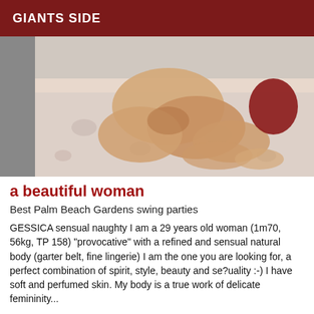GIANTS SIDE
[Figure (photo): A woman posing on a floral bed]
a beautiful woman
Best Palm Beach Gardens swing parties
GESSICA sensual naughty I am a 29 years old woman (1m70, 56kg, TP 158) "provocative" with a refined and sensual natural body (garter belt, fine lingerie) I am the one you are looking for, a perfect combination of spirit, style, beauty and se?uality :-) I have soft and perfumed skin. My body is a true work of delicate femininity...